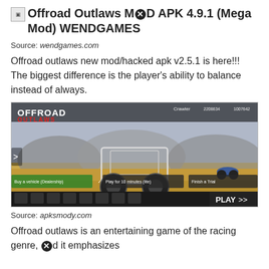Offroad Outlaws MOD APK 4.9.1 (Mega Mod) WENDGAMES
Source: wendgames.com
Offroad outlaws new mod/hacked apk v2.5.1 is here!!! The biggest difference is the player's ability to balance instead of always.
[Figure (screenshot): Screenshot of Offroad Outlaws mobile game showing a custom off-road buggy vehicle on a dirt terrain with game UI elements including PLAY button, menu icons, and mission objectives.]
Source: apksmody.com
Offroad outlaws is an entertaining game of the racing genre, and it emphasizes